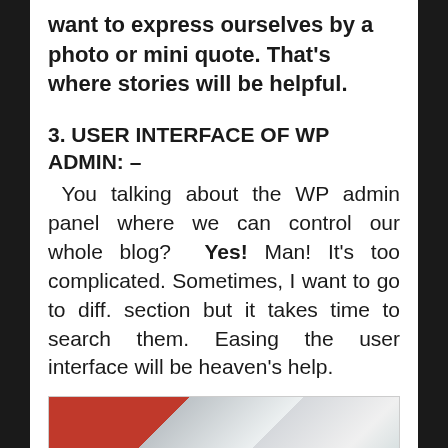want to express ourselves by a photo or mini quote. That's where stories will be helpful.
3. USER INTERFACE OF WP ADMIN: –
You talking about the WP admin panel where we can control our whole blog?  Yes! Man! It's too complicated. Sometimes, I want to go to diff. section but it takes time to search them. Easing the user interface will be heaven's help.
[Figure (photo): Partial photo showing red and grey/white surfaces, appears to be a desk or book scene]